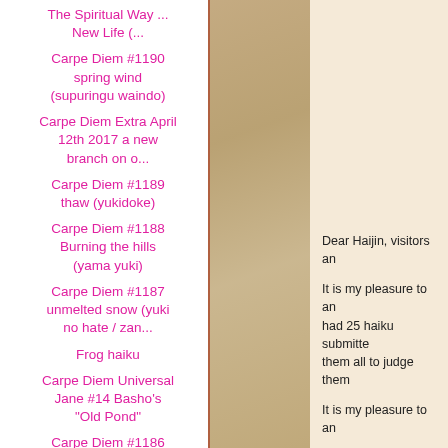The Spiritual Way ... New Life (...
Carpe Diem #1190 spring wind (supuringu waindo)
Carpe Diem Extra April 12th 2017 a new branch on o...
Carpe Diem #1189 thaw (yukidoke)
Carpe Diem #1188 Burning the hills (yama yuki)
Carpe Diem #1187 unmelted snow (yuki no hate / zan...
Frog haiku
Carpe Diem Universal Jane #14 Basho's "Old Pond"
Carpe Diem #1186 Hazy Moon (Oborozuki)
[Figure (photo): Aged manuscript or calligraphy page texture, sepia toned, used as decorative background strip in the middle of the page]
Dear Haijin, visitors an
It is my pleasure to an had 25 haiku submitte them all to judge them
It is my pleasure to an
old gardener
still sees her smile
in cherry blossoms
© Ese
A beauty I would say c